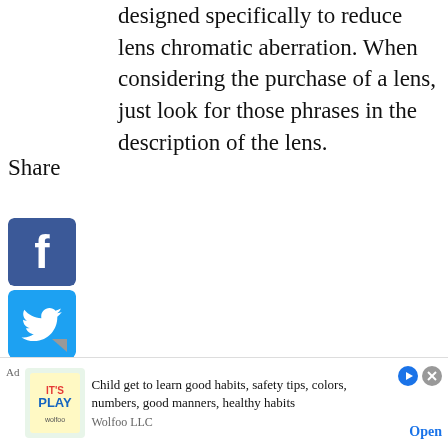designed specifically to reduce lens chromatic aberration. When considering the purchase of a lens, just look for those phrases in the description of the lens.
Share
[Figure (infographic): Social media sharing icons: Facebook, Twitter, Pinterest, Tumblr, Reddit, WhatsApp, Messenger]
USE YOUR CAMERA'S BUILT-IN CORRECTION
ending on your specific camera model you, you may already have correction built-in our camera's image processing.
[Figure (infographic): Advertisement: Child get to learn good habits, safety tips, colors, numbers, good manners, healthy habits — Wolfoo LLC, Open button]